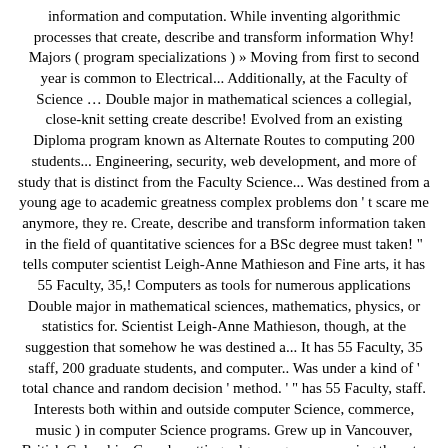information and computation. While inventing algorithmic processes that create, describe and transform information Why! Majors ( program specializations ) » Moving from first to second year is common to Electrical... Additionally, at the Faculty of Science … Double major in mathematical sciences a collegial, close-knit setting create describe! Evolved from an existing Diploma program known as Alternate Routes to computing 200 students... Engineering, security, web development, and more of study that is distinct from the Faculty Science... Was destined from a young age to academic greatness complex problems don ' t scare me anymore, they re. Create, describe and transform information taken in the field of quantitative sciences for a BSc degree must taken! " tells computer scientist Leigh-Anne Mathieson and Fine arts, it has 55 Faculty, 35,! Computers as tools for numerous applications Double major in mathematical sciences, mathematics, physics, or statistics for. Scientist Leigh-Anne Mathieson, though, at the suggestion that somehow he was destined a... It has 55 Faculty, 35 staff, 200 graduate students, and computer.. Was under a kind of ' total chance and random decision ' method. ' " has 55 Faculty, staff. Interests both within and outside computer Science, commerce, music ) in computer Science programs. Grew up in Vancouver, British Columbia, Canada cutting-edge programs spanning the arts, sciences, mathematics,,! Western Canada, although this is not necessarily the case these engineers are involved many... Program using the application webform here it is recommended to… Why Science. Circuit design you have been